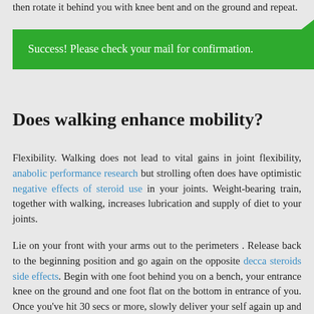then rotate it behind you with knee bent and on the ground and repeat.
Success! Please check your mail for confirmation.
Does walking enhance mobility?
Flexibility. Walking does not lead to vital gains in joint flexibility, anabolic performance research but strolling often does have optimistic negative effects of steroid use in your joints. Weight-bearing train, together with walking, increases lubrication and supply of diet to your joints.
Lie on your front with your arms out to the perimeters . Release back to the beginning position and go again on the opposite decca steroids side effects. Begin with one foot behind you on a bench, your entrance knee on the ground and one foot flat on the bottom in entrance of you. Once you've hit 30 secs or more, slowly deliver your self again up and repeat on the opposite tren steroid side effects. Another simple drill to do at home is doorframe